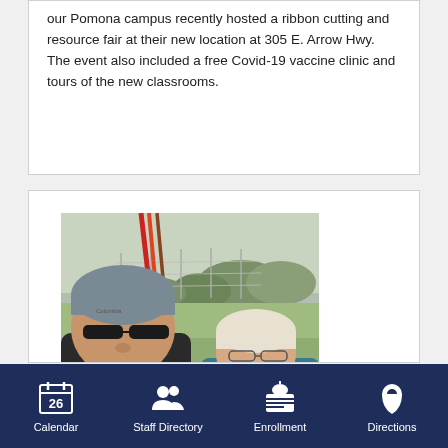our Pomona campus recently hosted a ribbon cutting and resource fair at their new location at 305 E. Arrow Hwy. The event also included a free Covid-19 vaccine clinic and tours of the new classrooms.
[Figure (photo): Selfie photo of two people outdoors near a field with a chain-link fence. A man in a gray Columbia beanie and sunglasses is in the foreground holding what appear to be poles or rods. A woman with glasses and a light-colored head covering is smiling beside him.]
Calendar | Staff Directory | Enrollment | Directions